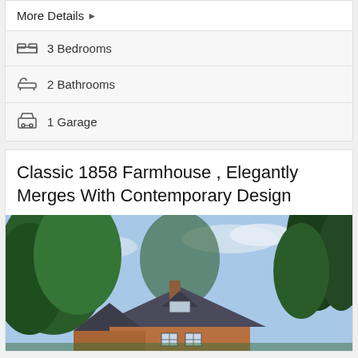More Details ▶
3 Bedrooms
2 Bathrooms
1 Garage
Classic 1858 Farmhouse , Elegantly Merges With Contemporary Design
[Figure (photo): Exterior photo of a classic brick farmhouse from 1858 surrounded by large trees, showing the roofline, chimney, and front windows under a partly cloudy blue sky.]